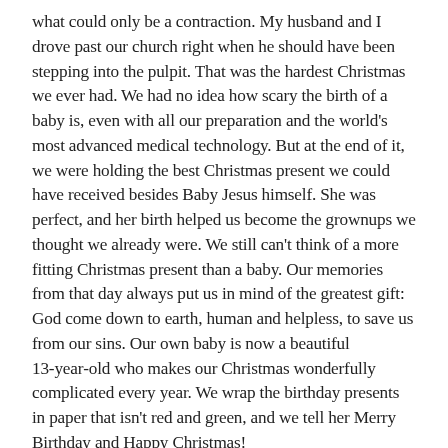what could only be a contraction. My husband and I drove past our church right when he should have been stepping into the pulpit. That was the hardest Christmas we ever had. We had no idea how scary the birth of a baby is, even with all our preparation and the world's most advanced medical technology. But at the end of it, we were holding the best Christmas present we could have received besides Baby Jesus himself. She was perfect, and her birth helped us become the grownups we thought we already were. We still can't think of a more fitting Christmas present than a baby. Our memories from that day always put us in mind of the greatest gift: God come down to earth, human and helpless, to save us from our sins. Our own baby is now a beautiful 13-year-old who makes our Christmas wonderfully complicated every year. We wrap the birthday presents in paper that isn't red and green, and we tell her Merry Birthday and Happy Christmas!
Rebekah Curtis
South Fonteen, Illinois First in Congregation I...